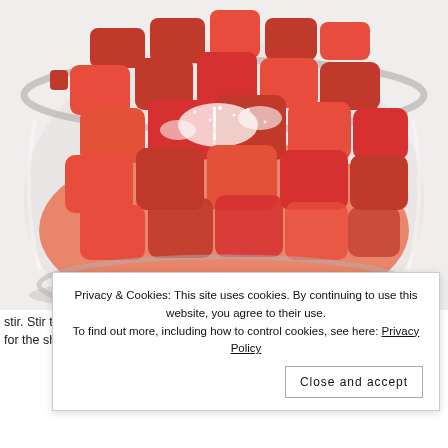[Figure (photo): A large glass bowl filled with cut strawberries dusted with white sugar, photographed from above on a white background.]
Privacy & Cookies: This site uses cookies. By continuing to use this website, you agree to their use. To find out more, including how to control cookies, see here: Privacy Policy
Close and accept
stir. Stir the strawberries occasionally while you wait for the shortcake to cool. Stripping them...